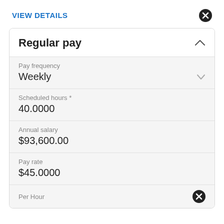VIEW DETAILS
Regular pay
Pay frequency
Weekly
Scheduled hours *
40.0000
Annual salary
$93,600.00
Pay rate
$45.0000
Per Hour